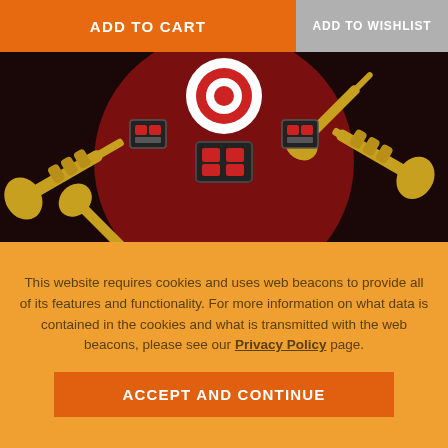ADD TO CART
ADD TO WISHLIST
[Figure (illustration): 3D rendered scene with golden trumpets and red/black drum hardware arranged radially around a bullseye target on a dark red background. Watermark text 'SUPERPAN.TV' visible.]
RENDER 3D
This website requires cookies and uses web beacons to provide all of its features and functionality. For more information on what data is contained in the cookies and what is transmitted with the web beacons, please see our Privacy Policy page.
ACCEPT AND CONTINUE